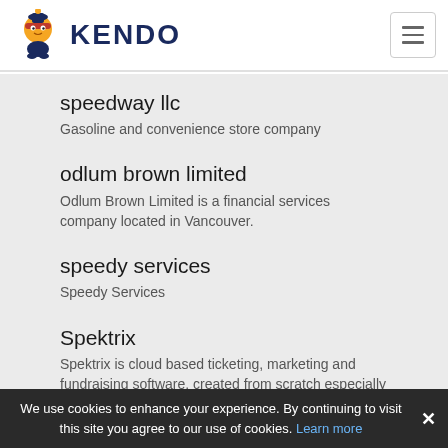KENDO
speedway llc
Gasoline and convenience store company
odlum brown limited
Odlum Brown Limited is a financial services company located in Vancouver.
speedy services
Speedy Services
Spektrix
Spektrix is cloud based ticketing, marketing and fundraising software, created from scratch especially for the arts in 2007.
Speedwell Holdings, LLC
We use cookies to enhance your experience. By continuing to visit this site you agree to our use of cookies. Learn more